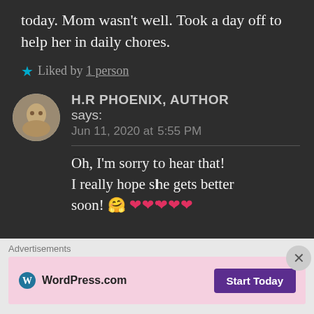today. Mom wasn't well. Took a day off to help her in daily chores.
★ Liked by 1 person
H.R PHOENIX, AUTHOR says:
Jun 11, 2020 at 5:55 PM
Oh, I'm sorry to hear that! I really hope she gets better soon! 🤗 ❤❤❤❤❤
Advertisements
[Figure (screenshot): WordPress.com advertisement banner with Start Today button]